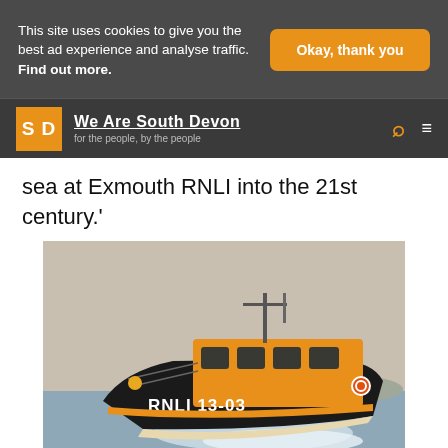This site uses cookies to give you the best ad experience and analyse traffic. Find out more.
Okay, thank you
We Are South Devon — for the people, by the people
sea at Exmouth RNLI into the 21st century.'
[Figure (photo): RNLI lifeboat numbered RNLI 13-03, an orange and black vessel speeding across calm water, photographed from a low angle with a misty background.]
Photo Credit: Mike Powell/Exmouth RNLI